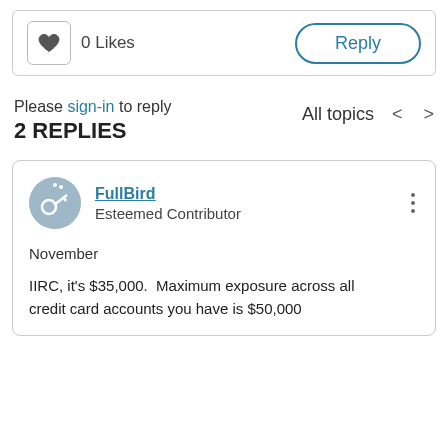0 Likes | Reply
Please sign-in to reply
2 REPLIES
All topics < >
FullBird
Esteemed Contributor
November
IIRC, it's $35,000.  Maximum exposure across all credit card accounts you have is $50,000